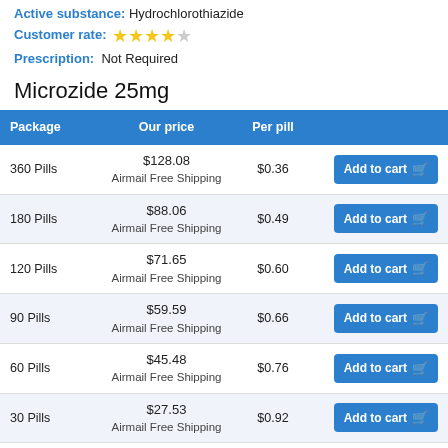Active substance: Hydrochlorothiazide
Customer rate: ★★★★☆
Prescription: Not Required
Microzide 25mg
| Package | Our price | Per pill |  |
| --- | --- | --- | --- |
| 360 Pills | $128.08
Airmail Free Shipping | $0.36 | Add to cart |
| 180 Pills | $88.06
Airmail Free Shipping | $0.49 | Add to cart |
| 120 Pills | $71.65
Airmail Free Shipping | $0.60 | Add to cart |
| 90 Pills | $59.59
Airmail Free Shipping | $0.66 | Add to cart |
| 60 Pills | $45.48
Airmail Free Shipping | $0.76 | Add to cart |
| 30 Pills | $27.53
Airmail Free Shipping | $0.92 | Add to cart |